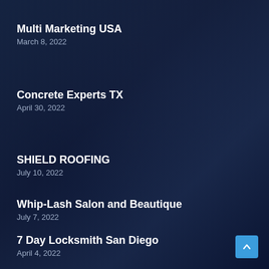Multi Marketing USA
March 8, 2022
Concrete Experts TX
April 30, 2022
SHIELD ROOFING
July 10, 2022
Whip-Lash Salon and Beautique
July 7, 2022
7 Day Locksmith San Diego
April 4, 2022